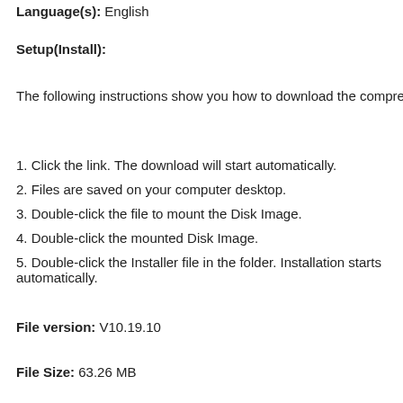Language(s): English
Setup(Install):
The following instructions show you how to download the compressed files and d
1. Click the link. The download will start automatically.
2. Files are saved on your computer desktop.
3. Double-click the file to mount the Disk Image.
4. Double-click the mounted Disk Image.
5. Double-click the Installer file in the folder. Installation starts automatically.
File version: V10.19.10
File Size: 63.26 MB
File name: mac-UFRII-LIPSLX-v101910-02.dmg
Printer Drivers
Canon imageCLASS MF8380Cdw Driver
Canon imag